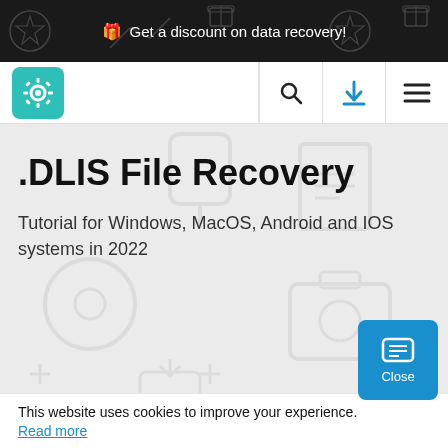Get a discount on data recovery!
[Figure (screenshot): Website navigation bar with teal gear logo, search icon, download icon, and hamburger menu]
.DLIS File Recovery
Tutorial for Windows, MacOS, Android and IOS systems in 2022
This website uses cookies to improve your experience. Read more